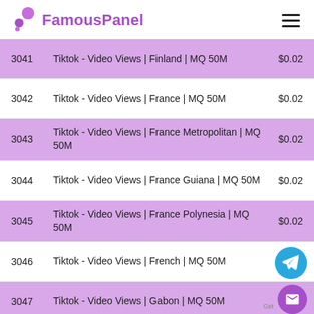FamousPanel
| ID | Service | Price |
| --- | --- | --- |
| 3041 | Tiktok - Video Views | Finland | MQ 50M | $0.02 |
| 3042 | Tiktok - Video Views | France | MQ 50M | $0.02 |
| 3043 | Tiktok - Video Views | France Metropolitan | MQ 50M | $0.02 |
| 3044 | Tiktok - Video Views | France Guiana | MQ 50M | $0.02 |
| 3045 | Tiktok - Video Views | France Polynesia | MQ 50M | $0.02 |
| 3046 | Tiktok - Video Views | French | MQ 50M | $0.02 |
| 3047 | Tiktok - Video Views | Gabon | MQ 50M | $0.02 |